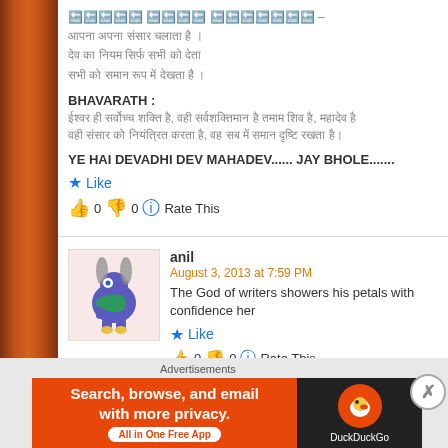[Hindi/Devanagari text lines - verse/shloka]
BHAVARATH :
[Hindi/Devanagari text - bhavarath description]
YE HAI DEVADHI DEV MAHADEV...... JAY BHOLE.......
Like
0  0  Rate This
anil
August 3, 2013 at 7:59 PM
The God of writers showers his petals with confidence her
Like
0  0  Rate This
Advertisements
[Figure (infographic): DuckDuckGo advertisement banner: 'Search, browse, and email with more privacy. All in One Free App' with DuckDuckGo logo on dark background]